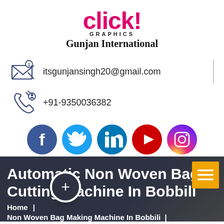[Figure (logo): Click! Graphics - Gunjan International logo with pink 'click!' text and black 'GRAPHICS' subtitle and 'Gunjan International' tagline]
itsgunjansingh20@gmail.com
+91-9350036382
[Figure (illustration): Social media icons row: Facebook, Twitter, LinkedIn, YouTube, Instagram]
Automatic Non Woven Bag Cutting Machine In Bobbili
Home  |
Non Woven Bag Making Machine In Bobbili  |